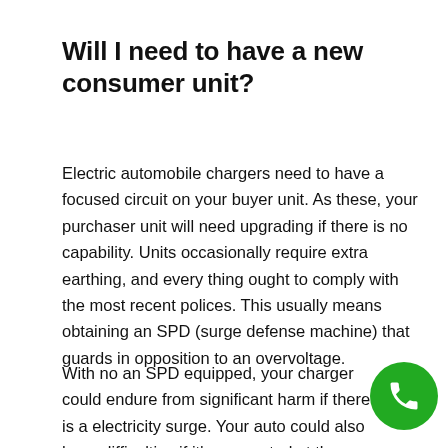Will I need to have a new consumer unit?
Electric automobile chargers need to have a focused circuit on your buyer unit. As these, your purchaser unit will need upgrading if there is no capability. Units occasionally require extra earthing, and every thing ought to comply with the most recent polices. This usually means obtaining an SPD (surge defense machine) that guards in opposition to an overvoltage.
With no an SPD equipped, your charger could endure from significant harm if there is a electricity surge. Your auto could also have difficulties if it's connected at the time. When you consider the rate of the car or truck and